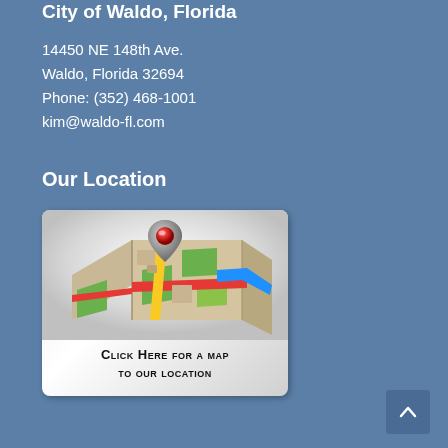City of Waldo, Florida
14450 NE 148th Ave.
Waldo, Florida 32694
Phone: (352) 468-1001
kim@waldo-fl.com
Our Location
[Figure (illustration): Map illustration with a red location pin marker placed on a folded street map with roads in red, yellow, green, and blue. Below the map image is text reading: CLICK HERE FOR A MAP TO OUR LOCATION]